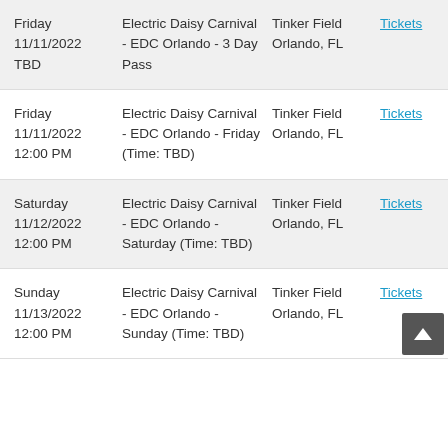| Date | Event | Venue | Action |
| --- | --- | --- | --- |
| Friday
11/11/2022
TBD | Electric Daisy Carnival - EDC Orlando - 3 Day Pass | Tinker Field
Orlando, FL | Tickets |
| Friday
11/11/2022
12:00 PM | Electric Daisy Carnival - EDC Orlando - Friday (Time: TBD) | Tinker Field
Orlando, FL | Tickets |
| Saturday
11/12/2022
12:00 PM | Electric Daisy Carnival - EDC Orlando - Saturday (Time: TBD) | Tinker Field
Orlando, FL | Tickets |
| Sunday
11/13/2022
12:00 PM | Electric Daisy Carnival - EDC Orlando - Sunday (Time: TBD) | Tinker Field
Orlando, FL | Tickets |